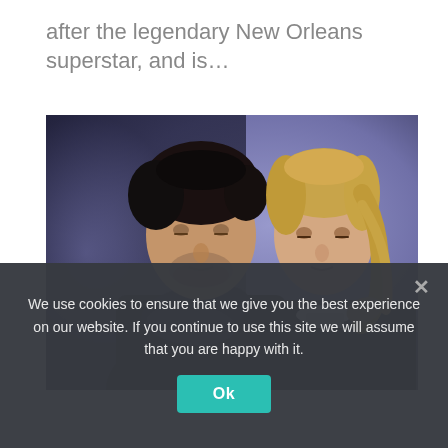after the legendary New Orleans superstar, and is…
[Figure (photo): A man with dark hair and a scarf and a blonde woman posing together against a purple-toned background, both dressed in dark clothing.]
We use cookies to ensure that we give you the best experience on our website. If you continue to use this site we will assume that you are happy with it.